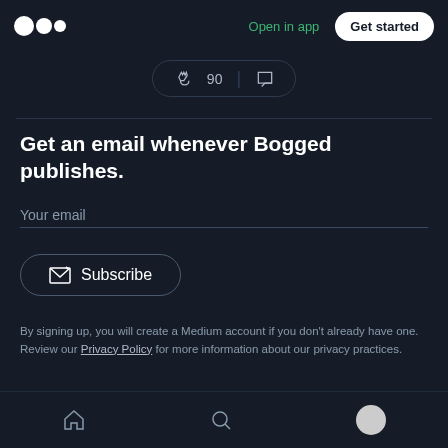Medium logo | Open in app | Get started
[Figure (screenshot): Medium app action bar showing clap icon, 90 claps count, and comment icon in a pill-shaped container]
Get an email whenever Bogged publishes.
Your email
Subscribe
By signing up, you will create a Medium account if you don't already have one. Review our Privacy Policy for more information about our privacy practices.
Home | Search | Profile